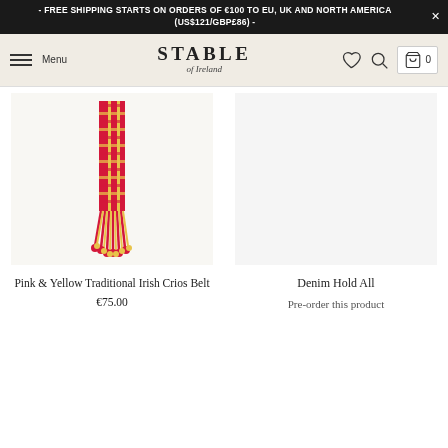- FREE SHIPPING STARTS ON ORDERS OF €100 TO EU, UK AND NORTH AMERICA (US$121/GBP£86) -
[Figure (screenshot): Stable of Ireland navigation bar with hamburger menu, logo reading STABLE of Ireland, heart icon, search icon, and shopping bag icon with 0 count]
[Figure (photo): Pink and yellow traditional Irish Crios Belt with tasseled fringe, woven textile in pink and yellow/gold colors]
Pink & Yellow Traditional Irish Crios Belt
€75.00
Denim Hold All
Pre-order this product